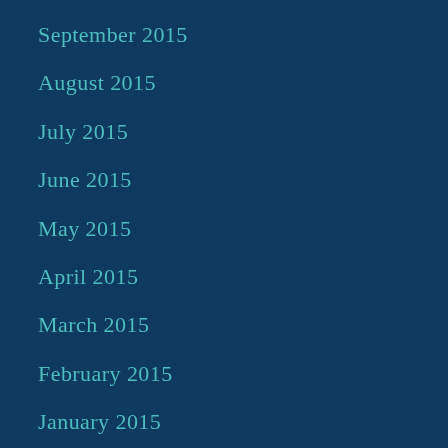September 2015
August 2015
July 2015
June 2015
May 2015
April 2015
March 2015
February 2015
January 2015
December 2014